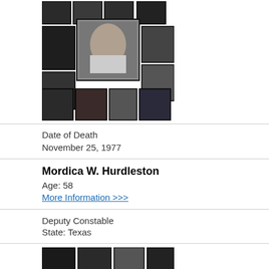[Figure (photo): Collage of law enforcement officer portrait photos arranged in a grid, with a larger central black-and-white photo of a male officer with a mustache surrounded by smaller color and black-and-white photos of other officers]
Date of Death
November 25, 1977
Mordica W. Hurdleston
Age: 58
More Information >>>
Deputy Constable
State: Texas
[Figure (photo): Row of small law enforcement officer portrait photos in uniform]